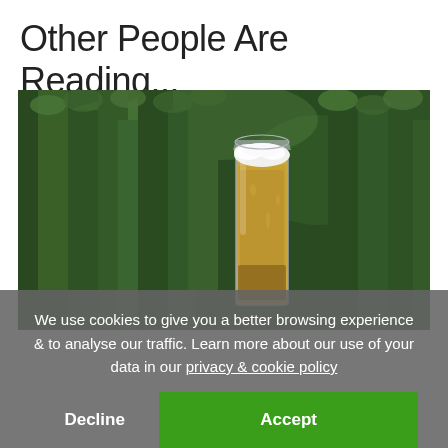Other People Are Reading...
[Figure (photo): A tall glass of beer with white foam head standing among dense green rosemary bushes or similar conifer plants, photographed outdoors.]
We use cookies to give you a better browsing experience & to analyse our traffic. Learn more about our use of your data in our privacy & cookie policy
Decline
Accept